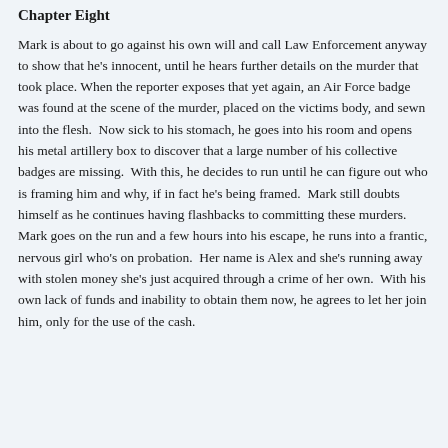Chapter Eight
Mark is about to go against his own will and call Law Enforcement anyway to show that he's innocent, until he hears further details on the murder that took place. When the reporter exposes that yet again, an Air Force badge was found at the scene of the murder, placed on the victims body, and sewn into the flesh.  Now sick to his stomach, he goes into his room and opens his metal artillery box to discover that a large number of his collective badges are missing.  With this, he decides to run until he can figure out who is framing him and why, if in fact he's being framed.  Mark still doubts himself as he continues having flashbacks to committing these murders.  Mark goes on the run and a few hours into his escape, he runs into a frantic, nervous girl who's on probation.  Her name is Alex and she's running away with stolen money she's just acquired through a crime of her own.  With his own lack of funds and inability to obtain them now, he agrees to let her join him, only for the use of the cash.